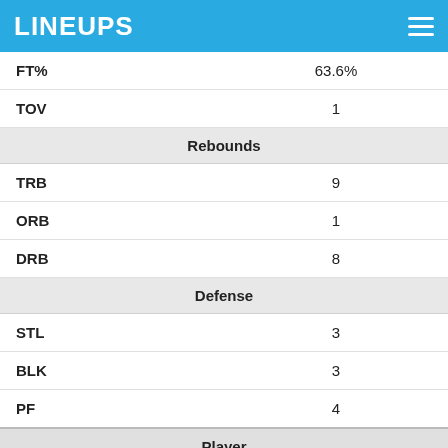LINEUPS
| Stat | Value |
| --- | --- |
| FT% | 63.6% |
| TOV | 1 |
| Rebounds |  |
| TRB | 9 |
| ORB | 1 |
| DRB | 8 |
| Defense |  |
| STL | 3 |
| BLK | 3 |
| PF | 4 |
| Player |  |
| DATE | 1-23-22 |
| OPP | vs BKN |